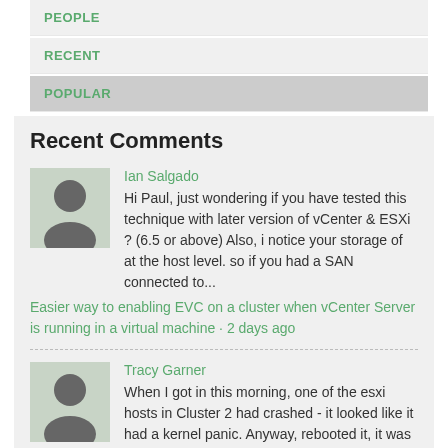PEOPLE
RECENT
POPULAR
Recent Comments
Ian Salgado
Hi Paul, just wondering if you have tested this technique with later version of vCenter & ESXi ? (6.5 or above) Also, i notice your storage of at the host level. so if you had a SAN connected to...
Easier way to enabling EVC on a cluster when vCenter Server is running in a virtual machine · 2 days ago
Tracy Garner
When I got in this morning, one of the esxi hosts in Cluster 2 had crashed - it looked like it had a kernel panic. Anyway, rebooted it, it was all good and vCenter cleared - and guess what - the...
How to easily kill a zombie datastore in your VMware vSphere lab · 1 week ago